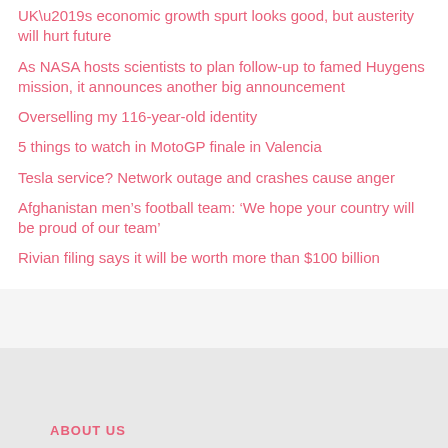UK’s economic growth spurt looks good, but austerity will hurt future
As NASA hosts scientists to plan follow-up to famed Huygens mission, it announces another big announcement
Overselling my 116-year-old identity
5 things to watch in MotoGP finale in Valencia
Tesla service? Network outage and crashes cause anger
Afghanistan men’s football team: ‘We hope your country will be proud of our team’
Rivian filing says it will be worth more than $100 billion
ABOUT US